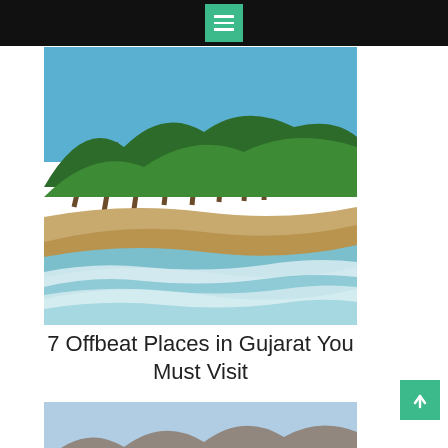[Figure (photo): A tropical beach with clear shallow water washing over sandy shore, dense palm trees and lush green vegetation in the background, blue sky above.]
7 Offbeat Places in Gujarat You Must Visit
[Figure (photo): Aerial or elevated view of arid mountainous terrain with rocky hills and pale blue sky.]